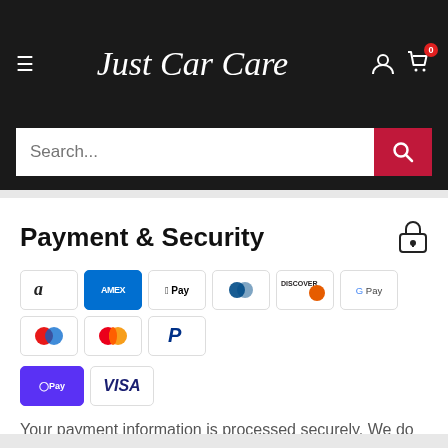[Figure (screenshot): Just Car Care website header with hamburger menu, logo, user icon, and cart with badge '0']
[Figure (screenshot): Search bar with placeholder text 'Search...' and a red search button with magnifying glass icon]
Payment & Security
[Figure (infographic): Payment method icons: Amazon Pay, American Express, Apple Pay, Diners Club, Discover, Google Pay, Maestro, Mastercard, PayPal, Shop Pay, Visa]
Your payment information is processed securely. We do not store credit card details nor have access to your credit card information.